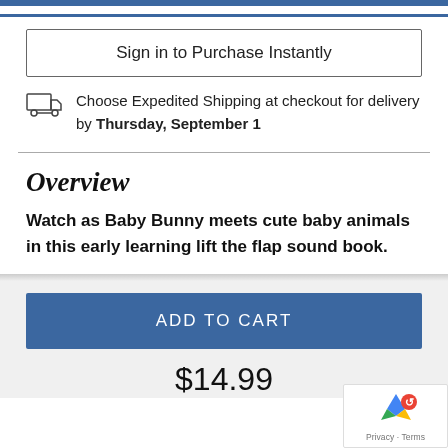Sign in to Purchase Instantly
Choose Expedited Shipping at checkout for delivery by Thursday, September 1
Overview
Watch as Baby Bunny meets cute baby animals in this early learning lift the flap sound book.
ADD TO CART
$14.99